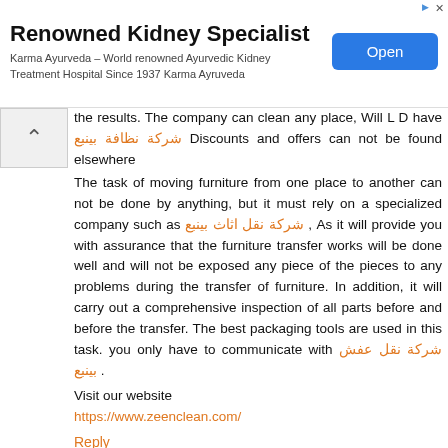[Figure (other): Advertisement banner for Karma Ayurveda Kidney Specialist with 'Open' button]
the results. The company can clean any place, Will L D have شركة نظافة بينبع Discounts and offers can not be found elsewhere
The task of moving furniture from one place to another can not be done by anything, but it must rely on a specialized company such as شركة نقل اثاث بينبع , As it will provide you with assurance that the furniture transfer works will be done well and will not be exposed any piece of the pieces to any problems during the transfer of furniture. In addition, it will carry out a comprehensive inspection of all parts before and before the transfer. The best packaging tools are used in this task. you only have to communicate with شركة نقل عفش بينبع .
Visit our website
https://www.zeenclean.com/
Reply